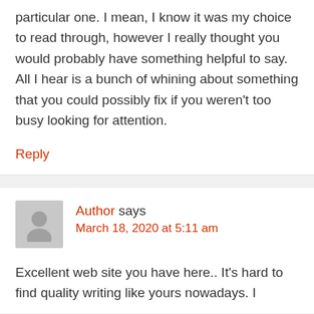particular one. I mean, I know it was my choice to read through, however I really thought you would probably have something helpful to say. All I hear is a bunch of whining about something that you could possibly fix if you weren't too busy looking for attention.
Reply
Author says March 18, 2020 at 5:11 am
Excellent web site you have here.. It's hard to find quality writing like yours nowadays. I